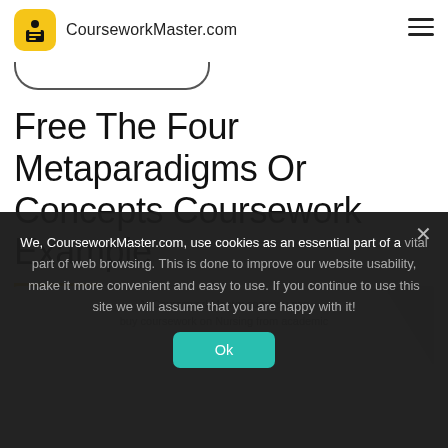CourseworkMaster.com
Free The Four Metaparadigms Or Concepts Coursework Example
[Figure (screenshot): Partial grey promotional banner with text about buying coursework on Nursing]
We, CourseworkMaster.com, use cookies as an essential part of a vital part of web browsing. This is done to improve our website usability, make it more convenient and easy to use. If you continue to use this site we will assume that you are happy with it!